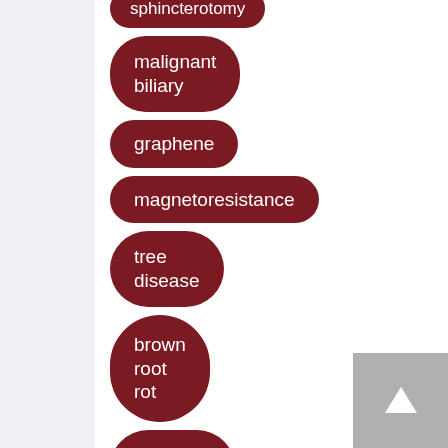sphincterotomy
malignant biliary
graphene
magnetoresistance
tree disease
brown root rot
Phellinus noxius
Hymenochaetales
genomes